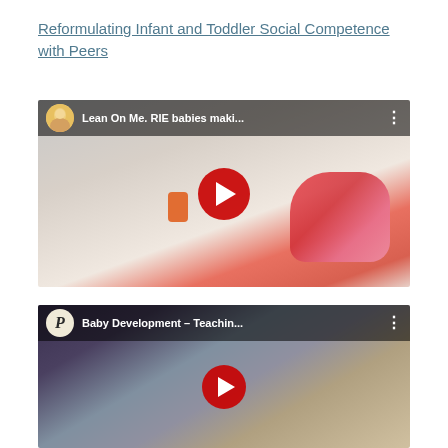Reformulating Infant and Toddler Social Competence with Peers
[Figure (screenshot): YouTube video thumbnail for 'Lean On Me. RIE babies maki...' showing two babies lying on a white blanket, one in red polka-dot outfit, with a play button overlay and channel avatar of a woman in top-left corner.]
[Figure (screenshot): YouTube video thumbnail for 'Baby Development – Teachin...' showing an adult woman with a baby, with a play button overlay and a 'P' logo avatar in top-left corner. Partially visible at bottom of page.]